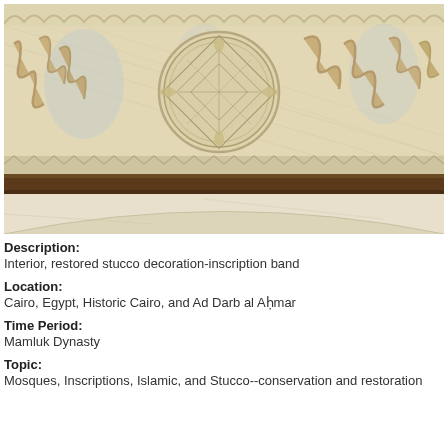[Figure (photo): Close-up photograph of an interior architectural element showing restored stucco decoration with an inscription band. Features intricate Islamic geometric and floral carving in cream/beige tones with pale blue highlights, including Arabic calligraphy, a central circular medallion with geometric lattice pattern, and a dark wooden beam running horizontally below the carved panel. Arch visible at the bottom.]
Description:
Interior, restored stucco decoration-inscription band
Location:
Cairo, Egypt, Historic Cairo, and Ad Darb al Aḥmar
Time Period:
Mamluk Dynasty
Topic:
Mosques, Inscriptions, Islamic, and Stucco--conservation and restoration